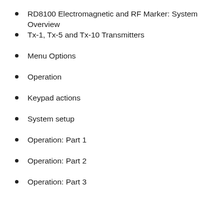RD8100 Electromagnetic and RF Marker: System Overview
Tx-1, Tx-5 and Tx-10 Transmitters
Menu Options
Operation
Keypad actions
System setup
Operation: Part 1
Operation: Part 2
Operation: Part 3